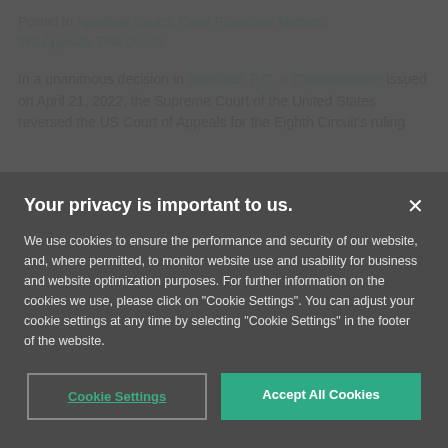Posted In Appellate Courts, Court Procedure Matters, IRS Appeals, Trial Courts
In a unanimous decision in Boechler, P.C. v. Commissioner issued on April 21, 2022, the Supreme Court of the United States reversed the US Court of Appeals for the Eighth Circuit's ruling
Your privacy is important to us.
We use cookies to ensure the performance and security of our website, and, where permitted, to monitor website use and usability for business and website optimization purposes. For further information on the cookies we use, please click on "Cookie Settings". You can adjust your cookie settings at any time by selecting "Cookie Settings" in the footer of the website.
Cookie Settings | Accept All Cookies